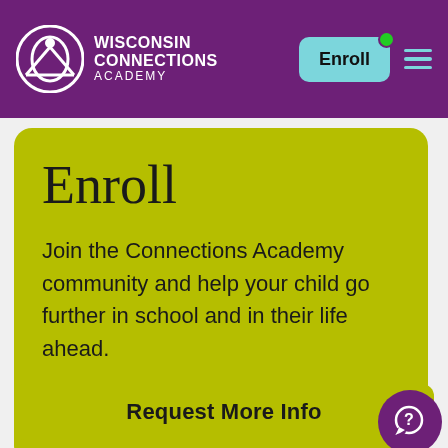[Figure (logo): Wisconsin Connections Academy logo with white circular icon and text on purple header background]
Enroll
Join the Connections Academy community and help your child go further in school and in their life ahead.
Enroll Today →
Request More Info